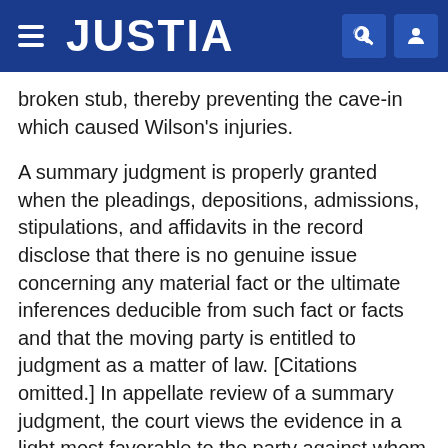JUSTIA
broken stub, thereby preventing the cave-in which caused Wilson's injuries.
A summary judgment is properly granted when the pleadings, depositions, admissions, stipulations, and affidavits in the record disclose that there is no genuine issue concerning any material fact or the ultimate inferences deducible from such fact or facts and that the moving party is entitled to judgment as a matter of law. [Citations omitted.] In appellate review of a summary judgment, the court views the evidence in a light most favorable to the party against whom the judgment is granted and gives such party the benefit of all reasonable inferences deducible from the evidence. [Citation omitted.]
Union Pacific RR. Co. v. Kaiser Ag. Chem. Co., 229 Neb.